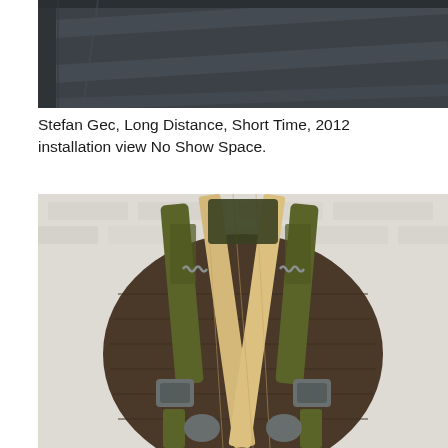[Figure (photo): Top portion of an installation view photo showing a dark grey/charcoal surface with diagonal lines, cropped at top]
Stefan Gec, Long Distance, Short Time, 2012 installation view No Show Space.
[Figure (photo): Photo of a military-style dark olive/brown quilted backpack against a white brick wall, with wooden planks (2x4 lumber) threaded through the shoulder straps]